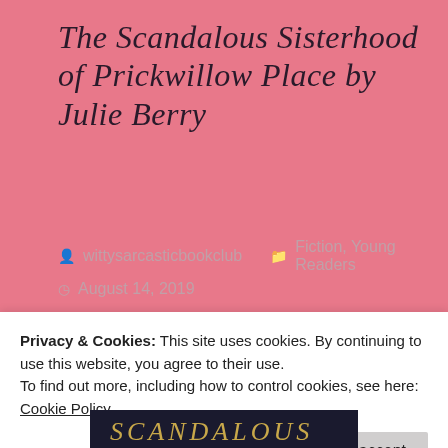The Scandalous Sisterhood of Prickwillow Place by Julie Berry
wittysarcasticbookclub   Fiction, Young Readers   August 14, 2019
[Figure (photo): Close-up photo of a book cover showing 'Julie Berry' in large cursive script on a cream background, with a blurb at top reading 'Stunning, Hilarious — Holly Goldberg Sloan, author of Counting by 7s'. Blue floral fabric visible beside the book.]
Privacy & Cookies: This site uses cookies. By continuing to use this website, you agree to their use.
To find out more, including how to control cookies, see here: Cookie Policy
Close and accept
[Figure (photo): Partial bottom strip of a book cover showing gold decorative text on a dark background, partially cut off.]